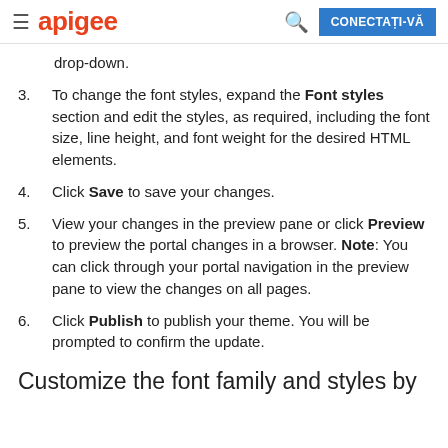apigee  CONECTAȚI-VĂ
drop-down.
3. To change the font styles, expand the Font styles section and edit the styles, as required, including the font size, line height, and font weight for the desired HTML elements.
4. Click Save to save your changes.
5. View your changes in the preview pane or click Preview to preview the portal changes in a browser. Note: You can click through your portal navigation in the preview pane to view the changes on all pages.
6. Click Publish to publish your theme. You will be prompted to confirm the update.
Customize the font family and styles by